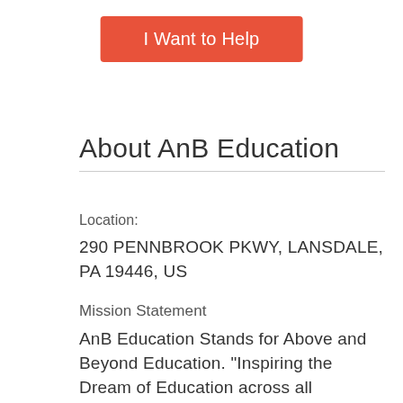[Figure (other): Orange button labeled 'I Want to Help']
About AnB Education
Location:
290 PENNBROOK PKWY, LANSDALE, PA 19446, US
Mission Statement
AnB Education Stands for Above and Beyond Education. "Inspiring the Dream of Education across all Nations." Established in 2009, AnB Education is a non-profit international exchange organization committed to the support